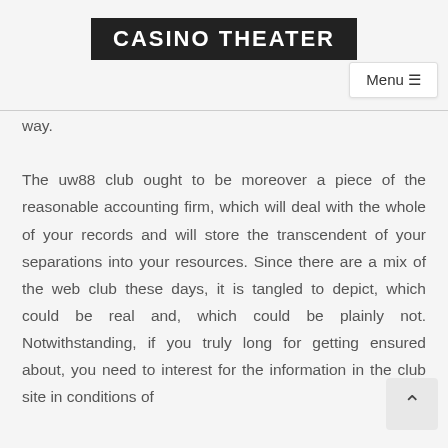CASINO THEATER
way.
The uw88 club ought to be moreover a piece of the reasonable accounting firm, which will deal with the whole of your records and will store the transcendent of your separations into your resources. Since there are a mix of the web club these days, it is tangled to depict, which could be real and, which could be plainly not. Notwithstanding, if you truly long for getting ensured about, you need to interest for the information in the club site in conditions of